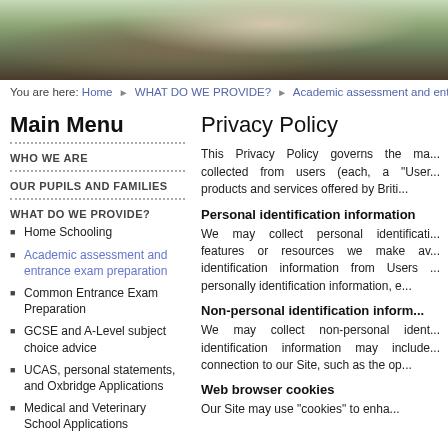[Figure (photo): Photo banner showing people sitting on grass, reading/studying outdoors.]
You are here: Home ▶ WHAT DO WE PROVIDE? ▶ Academic assessment and entrance
Main Menu
WHO WE ARE
OUR PUPILS AND FAMILIES
WHAT DO WE PROVIDE?
Home Schooling
Academic assessment and entrance exam preparation
Common Entrance Exam Preparation
GCSE and A-Level subject choice advice
UCAS, personal statements, and Oxbridge Applications
Medical and Veterinary School Applications
Privacy Policy
This Privacy Policy governs the ma... collected from users (each, a "User... products and services offered by Briti...
Personal identification information
We may collect personal identificati... features or resources we make av... identification information from Users ... personally identification information, e...
Non-personal identification inform...
We may collect non-personal ident... identification information may include... connection to our Site, such as the op...
Web browser cookies
Our Site may use "cookies" to enha...